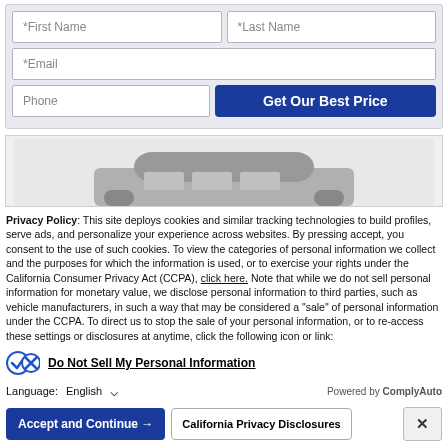[Figure (screenshot): Web form with First Name, Last Name, Email, Phone fields and a blue 'Get Our Best Price' button]
[Figure (photo): Partial image of a vehicle (gray van/bus) shown from the front-top]
Privacy Policy: This site deploys cookies and similar tracking technologies to build profiles, serve ads, and personalize your experience across websites. By pressing accept, you consent to the use of such cookies. To view the categories of personal information we collect and the purposes for which the information is used, or to exercise your rights under the California Consumer Privacy Act (CCPA), click here. Note that while we do not sell personal information for monetary value, we disclose personal information to third parties, such as vehicle manufacturers, in such a way that may be considered a "sale" of personal information under the CCPA. To direct us to stop the sale of your personal information, or to re-access these settings or disclosures at anytime, click the following icon or link:
Do Not Sell My Personal Information
Language: English
Powered by ComplyAuto
Accept and Continue → | California Privacy Disclosures | X